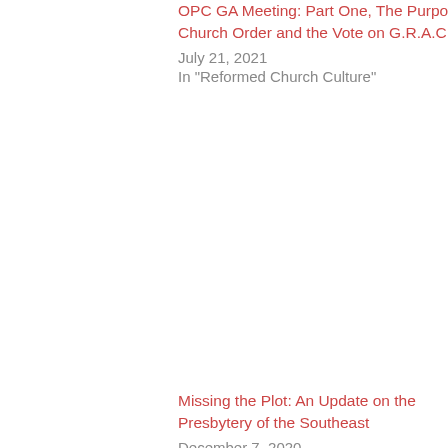OPC GA Meeting: Part One, The Purpose of Church Order and the Vote on G.R.A.C.E. (link)
July 21, 2021
In "Reformed Church Culture"
OPC on Abuse (link)
April 5, 2021
In "Reformed Church Culture"
Missing the Plot: An Update on the Presbytery of the Southeast (link)
December 7, 2020
In "Reformed Church Culture"
Categories: Reformed Church Culture, spiritual abuse • Tags: Aimee Byrd leaving the OPC, Recovering From Biblical Manhood and Womanhood